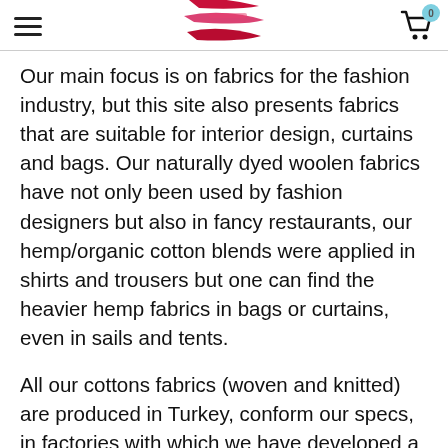Navigation header with hamburger menu, logo, and cart icon with badge 0
Our main focus is on fabrics for the fashion industry, but this site also presents fabrics that are suitable for interior design, curtains and bags. Our naturally dyed woolen fabrics have not only been used by fashion designers but also in fancy restaurants, our hemp/organic cotton blends were applied in shirts and trousers but one can find the heavier hemp fabrics in bags or curtains, even in sails and tents.
All our cottons fabrics (woven and knitted) are produced in Turkey, conform our specs, in factories with which we have developed a close working relation. For us (based in the Netherlands)